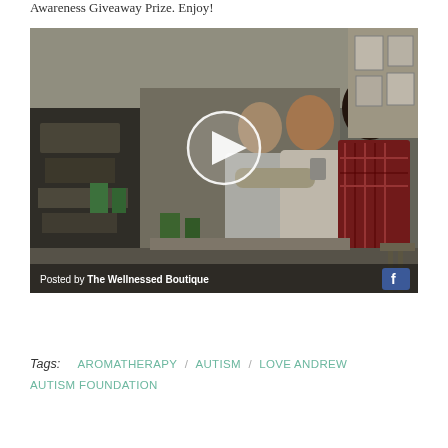Awareness Giveaway Prize. Enjoy!
[Figure (screenshot): A Facebook video thumbnail showing people hugging in a room, with a play button overlay. Footer reads 'Posted by The Wellnessed Boutique' with a Facebook icon.]
Tags: AROMATHERAPY / AUTISM / LOVE ANDREW AUTISM FOUNDATION